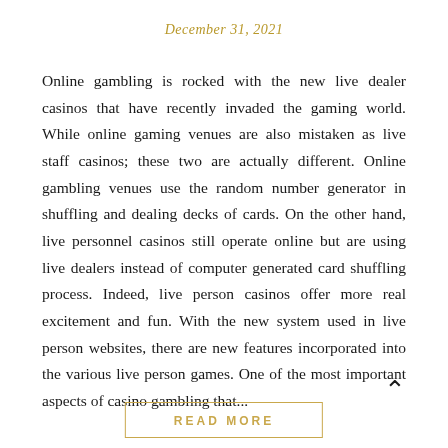Win Playing Slot Machines
December 31, 2021
Online gambling is rocked with the new live dealer casinos that have recently invaded the gaming world. While online gaming venues are also mistaken as live staff casinos; these two are actually different. Online gambling venues use the random number generator in shuffling and dealing decks of cards. On the other hand, live personnel casinos still operate online but are using live dealers instead of computer generated card shuffling process. Indeed, live person casinos offer more real excitement and fun. With the new system used in live person websites, there are new features incorporated into the various live person games. One of the most important aspects of casino gambling that...
READ MORE